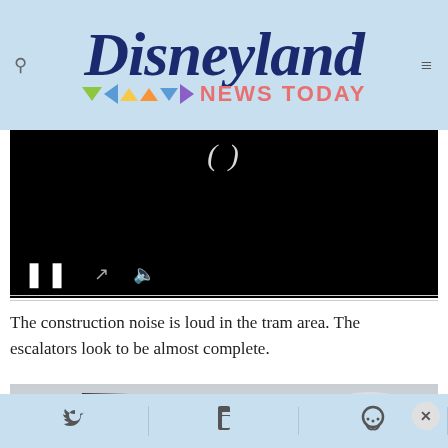Disneyland NEWS TODAY
[Figure (screenshot): Video player with black background, showing pause, expand, and mute controls at the bottom. Partial text visible at top.]
The construction noise is loud in the tram area. The escalators look to be almost complete.
[Figure (photo): Crane photograph against a cloudy grey sky.]
Social share bar with Twitter, Facebook, and Messenger icons. Close button (×).